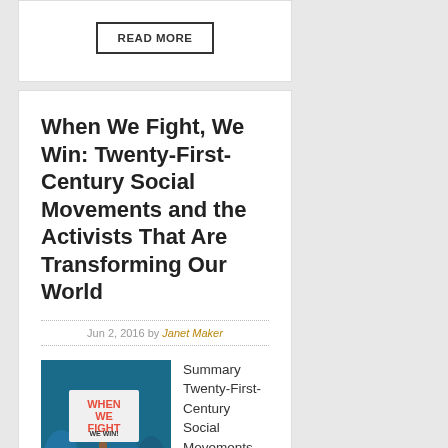READ MORE
When We Fight, We Win: Twenty-First-Century Social Movements and the Activists That Are Transforming Our World
Jun 2, 2016 by Janet Maker
[Figure (photo): Book cover for 'When We Fight, We Win' showing protest sign with red text on blue background]
Summary Twenty-First-Century Social Movements and the Activists That Are Transforming Our World Longtime social activist